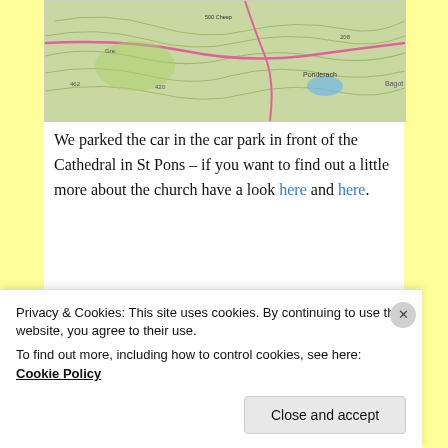[Figure (map): Topographic map showing St Pons area with contour lines, roads, and place names including Ponderach]
We parked the car in the car park in front of the Cathedral in St Pons – if you want to find out a little more about the church have a look here and here.
[Figure (photo): Photo looking up at the Cathedral in St Pons showing stone towers and roof against a blue sky]
Privacy & Cookies: This site uses cookies. By continuing to use this website, you agree to their use.
To find out more, including how to control cookies, see here: Cookie Policy